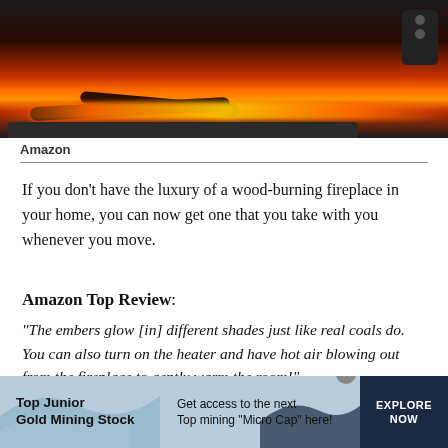[Figure (photo): Photo of an electric fireplace insert showing glowing red/orange embers and logs, with a remote control visible in the upper right corner.]
Amazon
If you don’t have the luxury of a wood-burning fireplace in your home, you can now get one that you take with you whenever you move.
Amazon Top Review:
“The embers glow [in] different shades just like real coals do. You can also turn on the heater and have hot air blowing out from the fireplace to gently warm the room!”
[Figure (other): Advertisement banner: Top Junior Gold Mining Stock — Get access to the next Top mining 'Micro Cap' here! — EXPLORE NOW]